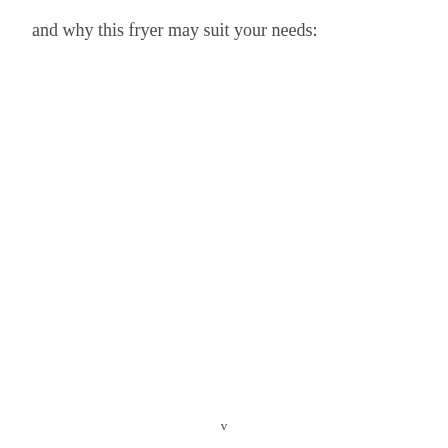and why this fryer may suit your needs:
v